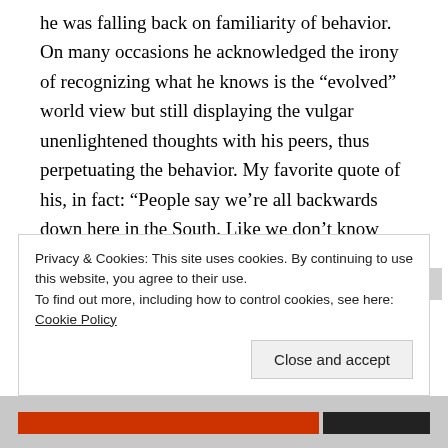he was falling back on familiarity of behavior. On many occasions he acknowledged the irony of recognizing what he knows is the "evolved" world view but still displaying the vulgar unenlightened thoughts with his peers, thus perpetuating the behavior. My favorite quote of his, in fact: "People say we're all backwards down here in the South. Like we don't know what's right from wrong. We're just like everybody else, though. We know the world is round... Just like a nickel." With serious conversation I could elicit that there was a decent person buried in there,
Privacy & Cookies: This site uses cookies. By continuing to use this website, you agree to their use.
To find out more, including how to control cookies, see here: Cookie Policy
Close and accept